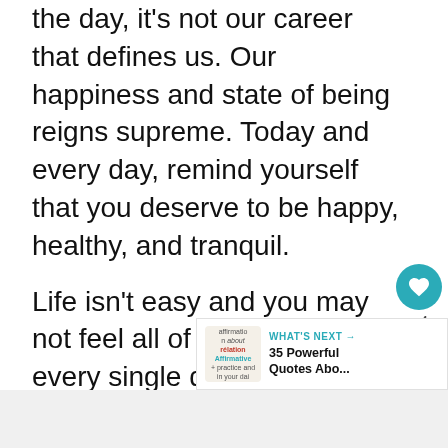the day, it's not our career that defines us. Our happiness and state of being reigns supreme. Today and every day, remind yourself that you deserve to be happy, healthy, and tranquil.
Life isn't easy and you may not feel all of these things every single day, but simply reminding yourself that these feelings will continue to come can help you get through harder days and work.
[Figure (other): WHAT'S NEXT link box with thumbnail showing affirmation book cover and text '35 Powerful Quotes Abo...']